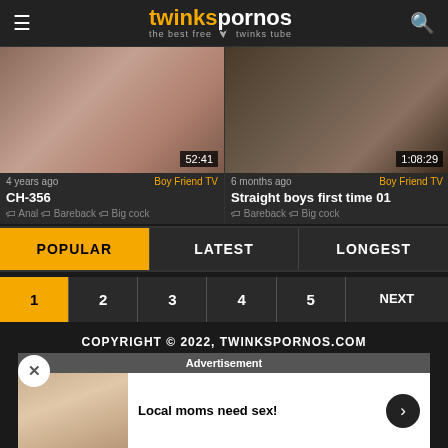twinkspornos — the best free twinks tube
[Figure (screenshot): Video thumbnail left: duration 52:41]
4 years ago   Boy Friend TV
CH-356
Anal  Bareback  Big cock
[Figure (screenshot): Video thumbnail right: duration 1:08:29]
6 months ago   Boy Friend TV
Straight boys first time 01
Bareback  Big cock
POPULAR   LATEST   LONGEST
1  2  3  4  5  NEXT
COPYRIGHT © 2022, TWINKSPORNOS.COM
[Figure (infographic): Advertisement banner: Local moms need sex!]
Disclaimer: All links, videos. All links over the content on any website while surfing